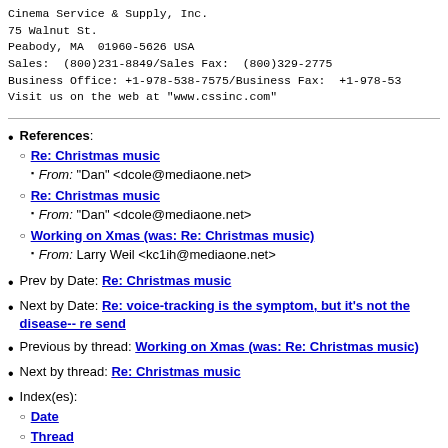Cinema Service & Supply, Inc.
75 Walnut St.
Peabody, MA  01960-5626 USA
Sales:  (800)231-8849/Sales Fax:  (800)329-2775
Business Office: +1-978-538-7575/Business Fax:  +1-978-53
Visit us on the web at "www.cssinc.com"
References: Re: Christmas music (From: "Dan" <dcole@mediaone.net>), Re: Christmas music (From: "Dan" <dcole@mediaone.net>), Working on Xmas (was: Re: Christmas music) (From: Larry Weil <kc1ih@mediaone.net>)
Prev by Date: Re: Christmas music
Next by Date: Re: voice-tracking is the symptom, but it's not the disease-- re send
Previous by thread: Working on Xmas (was: Re: Christmas music)
Next by thread: Re: Christmas music
Index(es): Date, Thread